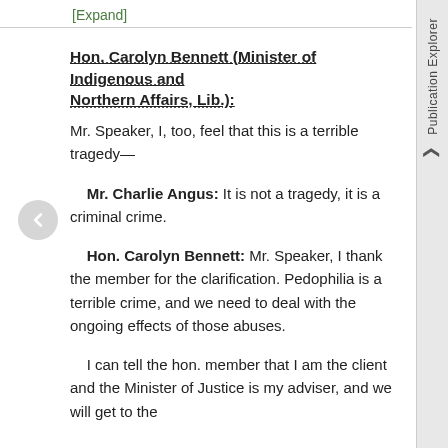[Expand]
Hon. Carolyn Bennett (Minister of Indigenous and Northern Affairs, Lib.):
Mr. Speaker, I, too, feel that this is a terrible tragedy—
Mr. Charlie Angus: It is not a tragedy, it is a criminal crime.
Hon. Carolyn Bennett: Mr. Speaker, I thank the member for the clarification. Pedophilia is a terrible crime, and we need to deal with the ongoing effects of those abuses.
I can tell the hon. member that I am the client and the Minister of Justice is my adviser, and we will get to the